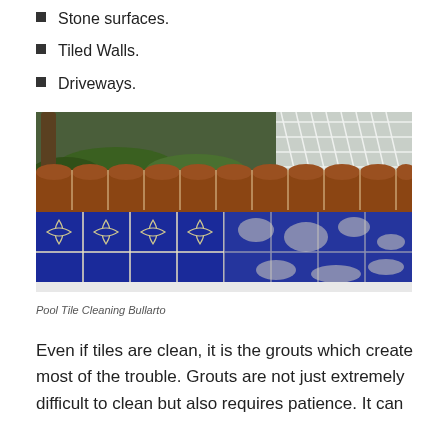Stone surfaces.
Tiled Walls.
Driveways.
[Figure (photo): Photo of a pool edge with decorative blue and white patterned tiles and terracotta-colored bullnose coping, half clean and half with calcium/mineral deposits. Outdoor setting with trees and a white lattice fence in background.]
Pool Tile Cleaning Bullarto
Even if tiles are clean, it is the grouts which create most of the trouble. Grouts are not just extremely difficult to clean but also requires patience. It can